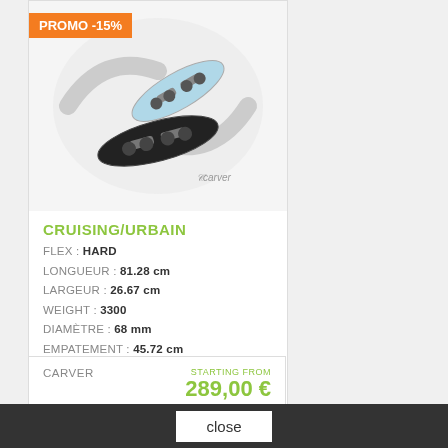[Figure (photo): Carver skateboard product photo on light background with 'PROMO -15%' orange badge and carver brand watermark]
CRUISING/URBAIN
FLEX : HARD
LONGUEUR : 81.28 cm
LARGEUR : 26.67 cm
WEIGHT : 3300
DIAMÈTRE : 68 mm
EMPATEMENT : 45.72 cm
VIEW
CARVER
STARTING FROM 289,00 €
SUPER SNAPPER 28"
close